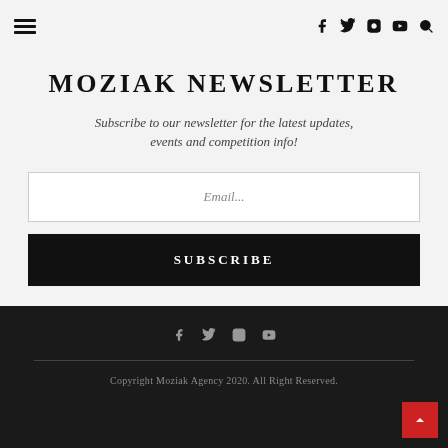≡  f  twitter  instagram  youtube  🔍
MOZIAK NEWSLETTER
Subscribe to our newsletter for the latest updates, events and competition info!
Email...
SUBSCRIBE
Copyright Moziak Agency 2020. All Right Reserved.